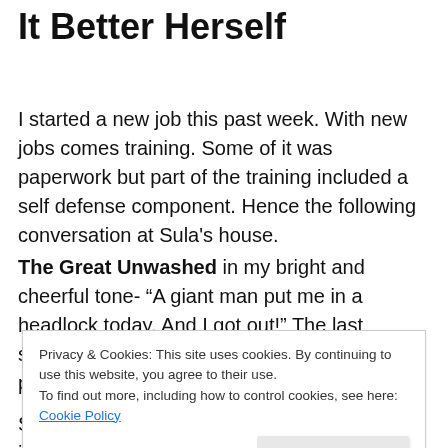It Better Herself
I started a new job this past week. With new jobs comes training. Some of it was paperwork but part of the training included a self defense component. Hence the following conversation at Sula's house.
The Great Unwashed in my bright and cheerful tone- “A giant man put me in a headlock today. And I got out!” The last sentence was said with a certain amount of pride.
Sula- “Did he smell nice?” said in a tone that indicated she
Privacy & Cookies: This site uses cookies. By continuing to use this website, you agree to their use.
To find out more, including how to control cookies, see here: Cookie Policy
should make sure there are no odors first.” This was